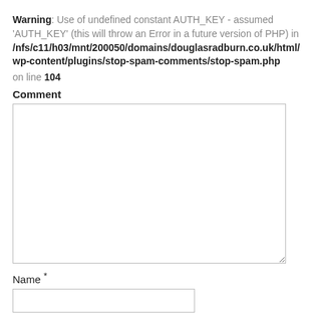Warning: Use of undefined constant AUTH_KEY - assumed 'AUTH_KEY' (this will throw an Error in a future version of PHP) in /nfs/c11/h03/mnt/200050/domains/douglasradburn.co.uk/html/wp-content/plugins/stop-spam-comments/stop-spam.php on line 104
Comment
[Figure (other): Large textarea input box for comment entry]
Name *
[Figure (other): Single-line text input box for name entry]